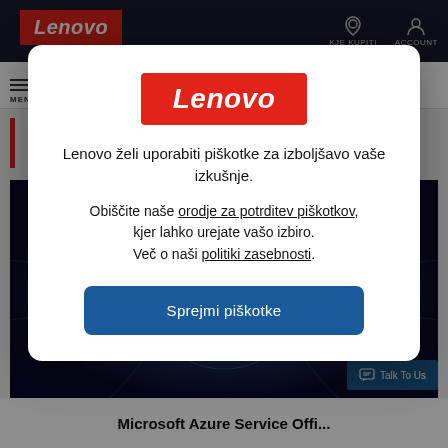[Figure (screenshot): Lenovo website background with dark navy navigation bar showing Lenovo logo, KJE KUPITI and ACCOUNT icons. Below is a white secondary nav bar with hamburger menu. A partial hero image shows an abstract blue swirling tunnel. Bottom shows partial text of an article title.]
[Figure (logo): Lenovo logo in white italics on red background inside modal dialog]
Lenovo želi uporabiti piškotke za izboljšavo vaše izkušnje.
Obiščite naše orodje za potrditev piškotkov, kjer lahko urejate vašo izbiro. Več o naši politiki zasebnosti.
Sprejmi piškotke